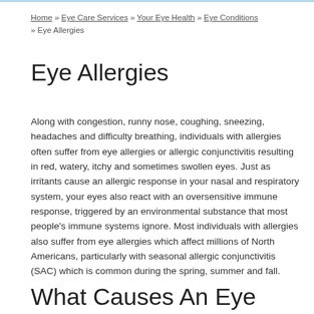Home » Eye Care Services » Your Eye Health » Eye Conditions » Eye Allergies
Eye Allergies
Along with congestion, runny nose, coughing, sneezing, headaches and difficulty breathing, individuals with allergies often suffer from eye allergies or allergic conjunctivitis resulting in red, watery, itchy and sometimes swollen eyes. Just as irritants cause an allergic response in your nasal and respiratory system, your eyes also react with an oversensitive immune response, triggered by an environmental substance that most people's immune systems ignore. Most individuals with allergies also suffer from eye allergies which affect millions of North Americans, particularly with seasonal allergic conjunctivitis (SAC) which is common during the spring, summer and fall.
What Causes An Eye Allergy?